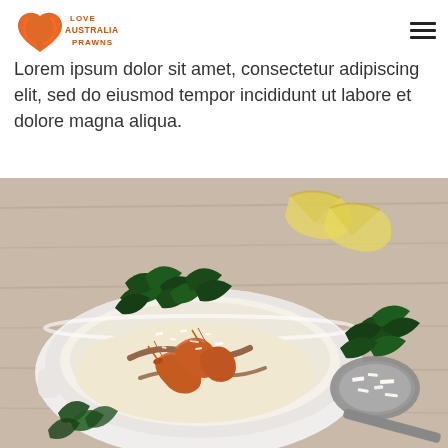[Figure (logo): Love Australian Prawns logo — a red/orange heart with two prawns curling to form the shape, with text 'LOVE AUSTRALIAN PRAWNS' in orange]
Lorem ipsum dolor sit amet, consectetur adipiscing elit, sed do eiusmod tempor incididunt ut labore et dolore magna aliqua.
[Figure (photo): Food photograph showing a white ceramic dish with cooked prawns on a creamy polenta or risotto base, topped with crispy kale and grated parmesan, with lemon wedges in the background and a spoon with parmesan cheese to the right, styled on a rustic wooden surface]